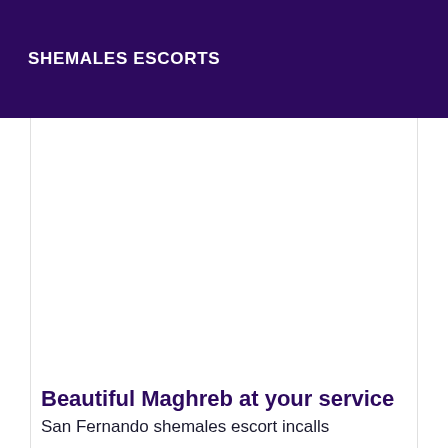SHEMALES ESCORTS
Beautiful Maghreb at your service
San Fernando shemales escort incalls